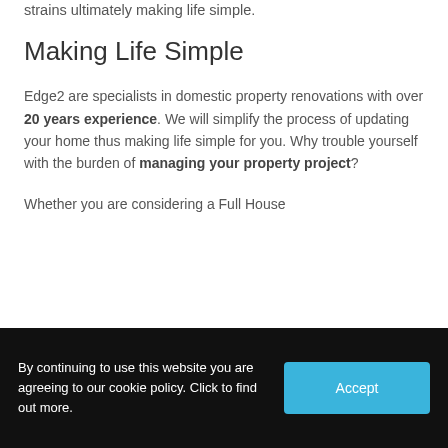strains ultimately making life simple.
Making Life Simple
Edge2 are specialists in domestic property renovations with over 20 years experience. We will simplify the process of updating your home thus making life simple for you. Why trouble yourself with the burden of managing your property project?
Whether you are considering a Full House
By continuing to use this website you are agreeing to our cookie policy. Click to find out more.